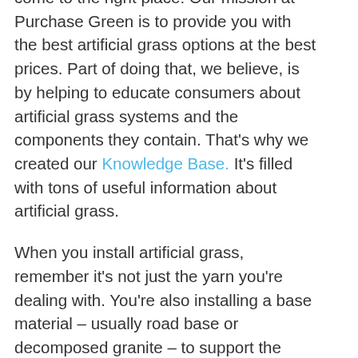come to the right place! Our mission at Purchase Green is to provide you with the best artificial grass options at the best prices. Part of doing that, we believe, is by helping to educate consumers about artificial grass systems and the components they contain. That's why we created our Knowledge Base. It's filled with tons of useful information about artificial grass.

When you install artificial grass, remember it's not just the yarn you're dealing with. You're also installing a base material – usually road base or decomposed granite – to support the grass. And you're also going to need an infill product to weigh it down and